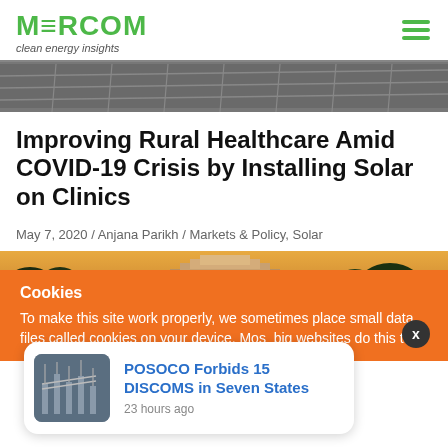MERCOM clean energy insights
[Figure (photo): Grayscale panoramic photo of solar panels]
Improving Rural Healthcare Amid COVID-19 Crisis by Installing Solar on Clinics
May 7, 2020 / Anjana Parikh / Markets & Policy, Solar
[Figure (photo): Panoramic photo of rural landscape with temple-like structure and trees at sunset]
Cookies
To make this site work properly, we sometimes place small data files called cookies on your device. Most big websites do this too.
POSOCO Forbids 15 DISCOMS in Seven States
23 hours ago